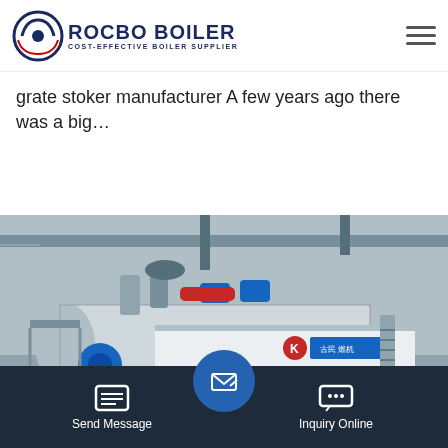[Figure (logo): Rocbo Boiler logo with circular icon and text 'ROCBO BOILER - COST-EFFECTIVE BOILER SUPPLIER']
grate stoker manufacturer A few years ago there was a big…
Get Price
[Figure (photo): Industrial boiler equipment in a factory setting, large grey boiler unit with blue motors, pipes, and walkway stairs]
Send Message   Inquiry Online